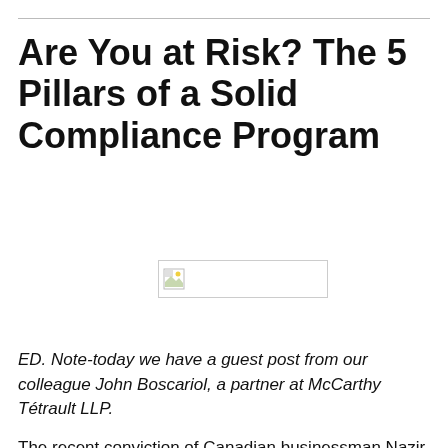Are You at Risk? The 5 Pillars of a Solid Compliance Program
[Figure (photo): Broken/missing image placeholder showing a small image icon and a gray bordered rectangle]
ED. Note-today we have a guest post from our colleague John Boscariol, a partner at McCarthy Tétrault LLP.
The recent conviction of Canadian businessman Nazir